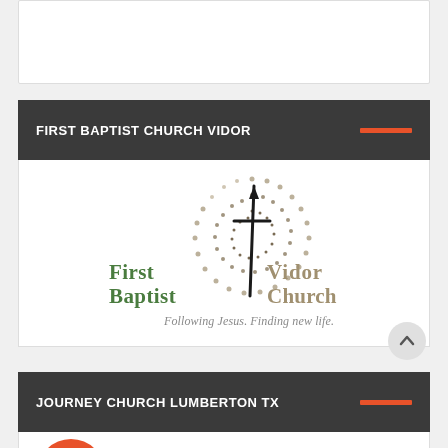[Figure (other): Top white card (partial, cropped)]
FIRST BAPTIST CHURCH VIDOR
[Figure (logo): First Baptist Church Vidor logo with cross and dotted circle. Tagline: Following Jesus. Finding new life.]
JOURNEY CHURCH LUMBERTON TX
[Figure (logo): Journey Church logo with orange circular icon and large bold JOURNEY text]